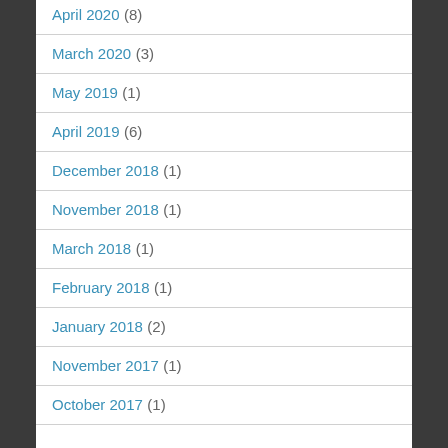April 2020 (8)
March 2020 (3)
May 2019 (1)
April 2019 (6)
December 2018 (1)
November 2018 (1)
March 2018 (1)
February 2018 (1)
January 2018 (2)
November 2017 (1)
October 2017 (1)